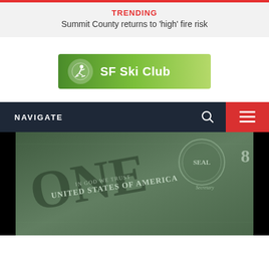TRENDING
Summit County returns to 'high' fire risk
[Figure (logo): SF Ski Club logo: green gradient banner with white skier icon and text 'SF Ski Club']
NAVIGATE
[Figure (photo): Close-up photo of US dollar bills showing 'United States of America', 'One', 'In God We Trust' text on currency]